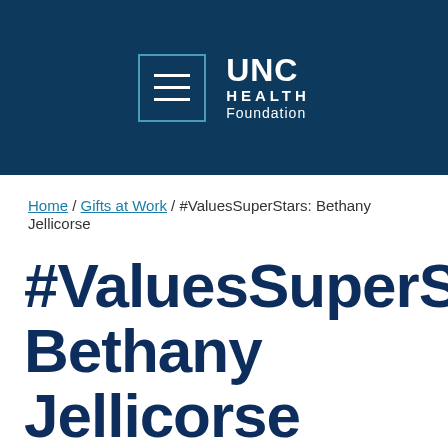UNC HEALTH Foundation
Home / Gifts at Work / #ValuesSuperStars: Bethany Jellicorse
#ValuesSuperStars: Bethany Jellicorse
[Figure (photo): Image placeholder area at bottom of page]